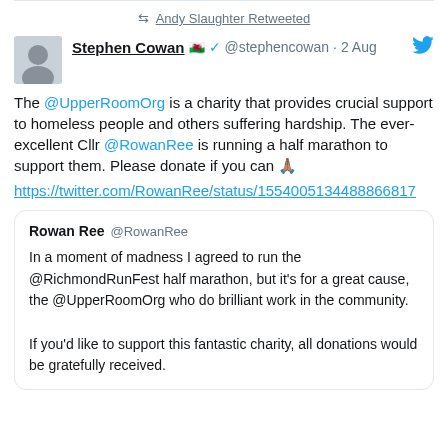Andy Slaughter Retweeted
Stephen Cowan 🏴󠁧󠁢󠁷󠁬󠁳󠁿 ✓ @stephencowan · 2 Aug
The @UpperRoomOrg is a charity that provides crucial support to homeless people and others suffering hardship. The ever-excellent Cllr @RowanRee is running a half marathon to support them. Please donate if you can 🙏🏽 https://twitter.com/RowanRee/status/1554005134488866817
Rowan Ree @RowanRee — In a moment of madness I agreed to run the @RichmondRunFest half marathon, but it's for a great cause, the @UpperRoomOrg who do brilliant work in the community. If you'd like to support this fantastic charity, all donations would be gratefully received.